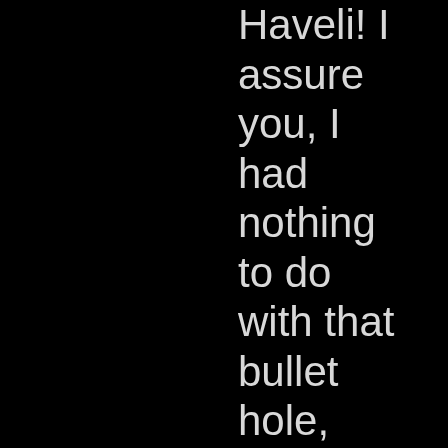Haveli! I assure you, I had nothing to do with that bullet hole, and I hope your meal was free of scamper vermin.

I'm surprised that no one has yet mentione